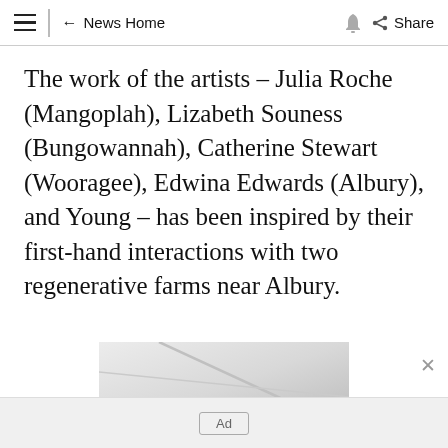≡  ← News Home  🔔  Share
The work of the artists – Julia Roche (Mangoplah), Lizabeth Souness (Bungowannah), Catherine Stewart (Wooragee), Edwina Edwards (Albury), and Young – has been inspired by their first-hand interactions with two regenerative farms near Albury.
[Figure (photo): Partial view of a room interior showing white walls and ceiling corner with subtle line details]
Ad